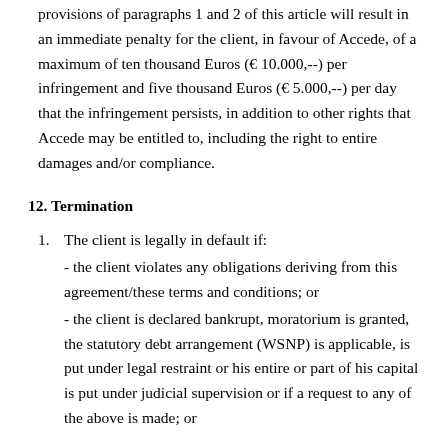provisions of paragraphs 1 and 2 of this article will result in an immediate penalty for the client, in favour of Accede, of a maximum of ten thousand Euros (€ 10.000,--) per infringement and five thousand Euros (€ 5.000,--) per day that the infringement persists, in addition to other rights that Accede may be entitled to, including the right to entire damages and/or compliance.
12. Termination
1. The client is legally in default if: - the client violates any obligations deriving from this agreement/these terms and conditions; or - the client is declared bankrupt, moratorium is granted, the statutory debt arrangement (WSNP) is applicable, is put under legal restraint or his entire or part of his capital is put under judicial supervision or if a request to any of the above is made; or